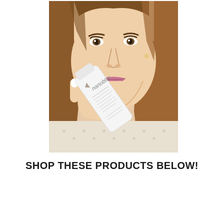[Figure (photo): A young woman with light skin and brown hair holding a white tube of 'nanoblur.' skincare product close to her face. She has white nail polish. The background is white.]
SHOP THESE PRODUCTS BELOW!